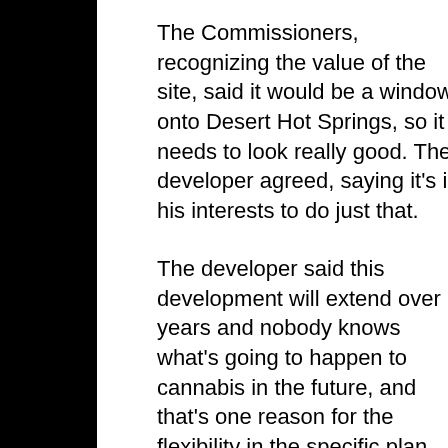The Commissioners, recognizing the value of the site, said it would be a window onto Desert Hot Springs, so it needs to look really good. The developer agreed, saying it's in his interests to do just that.
The developer said this development will extend over years and nobody knows what's going to happen to cannabis in the future, and that's one reason for the flexibility in the specific plan.
The part of the site that is north of Varner Road extends into the